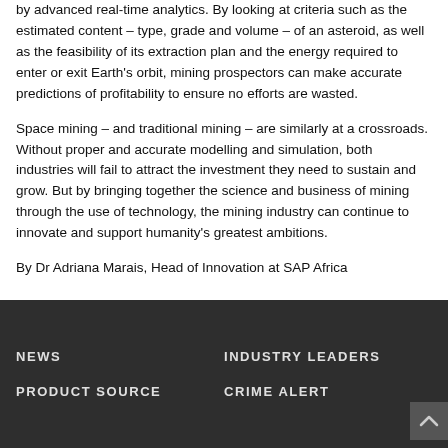by advanced real-time analytics. By looking at criteria such as the estimated content – type, grade and volume – of an asteroid, as well as the feasibility of its extraction plan and the energy required to enter or exit Earth's orbit, mining prospectors can make accurate predictions of profitability to ensure no efforts are wasted.
Space mining – and traditional mining – are similarly at a crossroads. Without proper and accurate modelling and simulation, both industries will fail to attract the investment they need to sustain and grow. But by bringing together the science and business of mining through the use of technology, the mining industry can continue to innovate and support humanity's greatest ambitions.
By Dr Adriana Marais, Head of Innovation at SAP Africa
NEWS   INDUSTRY LEADERS   PRODUCT SOURCE   CRIME ALERT